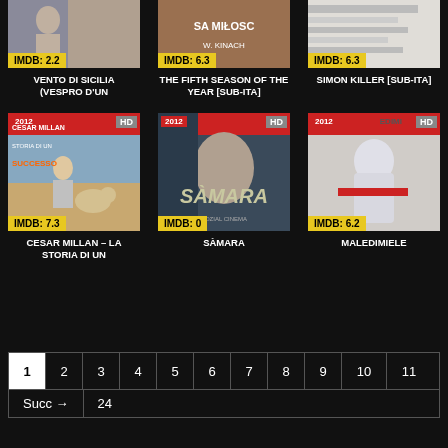[Figure (screenshot): Movie poster row 1: Vento di Sicilia IMDB 2.2, The Fifth Season of the Year IMDB 6.3, Simon Killer IMDB 6.3]
VENTO DI SICILIA (VESPRO D'UN
THE FIFTH SEASON OF THE YEAR [SUB-ITA]
SIMON KILLER [SUB-ITA]
[Figure (screenshot): Movie poster row 2: Cesar Millan - La Storia Di Un IMDB 7.3 HD 2012, Samara IMDB 0 HD 2012, Maledimiele IMDB 6.2 HD 2012]
CESAR MILLAN – LA STORIA DI UN
SÀMARA
MALEDIMIELE
1 2 3 4 5 6 7 8 9 10 11
Succ → 24